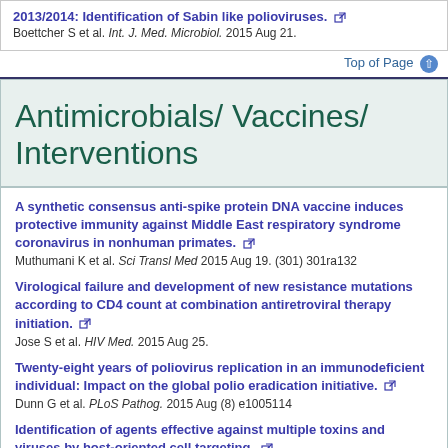2013/2014: Identification of Sabin like polioviruses. Boettcher S et al. Int. J. Med. Microbiol. 2015 Aug 21.
Top of Page
Antimicrobials/ Vaccines/ Interventions
A synthetic consensus anti-spike protein DNA vaccine induces protective immunity against Middle East respiratory syndrome coronavirus in nonhuman primates. Muthumani K et al. Sci Transl Med 2015 Aug 19. (301) 301ra132
Virological failure and development of new resistance mutations according to CD4 count at combination antiretroviral therapy initiation. Jose S et al. HIV Med. 2015 Aug 25.
Twenty-eight years of poliovirus replication in an immunodeficient individual: Impact on the global polio eradication initiative. Dunn G et al. PLoS Pathog. 2015 Aug (8) e1005114
Identification of agents effective against multiple toxins and viruses by host-oriented cell targeting. Zilbermintz L et al. Sci Rep 2015 13476
Top of Page